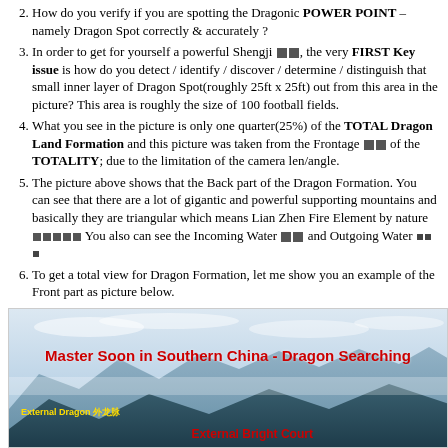How do you verify if you are spotting the Dragonic POWER POINT – namely Dragon Spot correctly & accurately ?
In order to get for yourself a powerful Shengji [symbols], the very FIRST Key issue is how do you detect / identify / discover / determine / distinguish that small inner layer of Dragon Spot(roughly 25ft x 25ft) out from this area in the picture? This area is roughly the size of 100 football fields.
What you see in the picture is only one quarter(25%) of the TOTAL Dragon Land Formation and this picture was taken from the Frontage [symbols] of the TOTALITY; due to the limitation of the camera len/angle.
The picture above shows that the Back part of the Dragon Formation. You can see that there are a lot of gigantic and powerful supporting mountains and basically they are triangular which means Lian Zhen Fire Element by nature [symbols] You also can see the Incoming Water [symbols] and Outgoing Water [symbols]
To get a total view for Dragon Formation, let me show you an example of the Front part as picture below.
[Figure (photo): Photo of mountainous landscape in Southern China with text overlay reading 'Master Soon in Southern China - Dragon Searching'. Yellow label reads 'External Dragon 外龙脉' and red text at bottom reads 'External Bright Court'.]